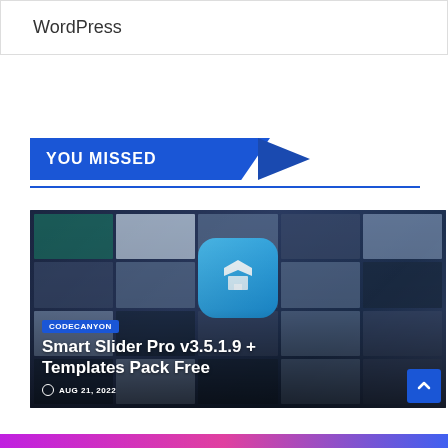WordPress
YOU MISSED
[Figure (screenshot): Screenshot of Smart Slider Pro v3.5.1.9 + Templates Pack Free WordPress plugin page, showing a dark-themed UI with multiple slider template thumbnails in a grid layout, a blue app icon with a graduation cap, and text overlay with CODECANYON tag, title, and date AUG 21, 2022]
gradient bar